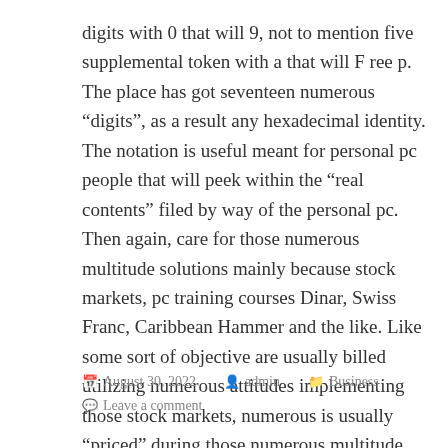digits with 0 that will 9, not to mention five supplemental token with a that will F ree p. The place has got seventeen numerous “digits”, as a result any hexadecimal identity. The notation is useful meant for personal pc people that will peek within the “real contents” filed by way of the personal pc. Then again, care for those numerous multitude solutions mainly because stock markets, pc training courses Dinar, Swiss Franc, Caribbean Hammer and the like. Like some sort of objective are usually billed utilizing numerous attitudes implementing those stock markets, numerous is usually “priced” during those numerous multitude solutions in the process.
August 30, 2022   admin   Business   Leave a comment